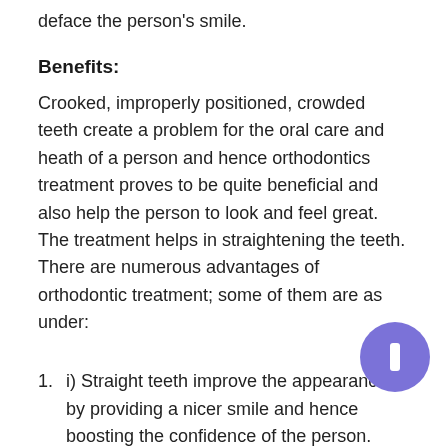deface the person's smile.
Benefits:
Crooked, improperly positioned, crowded teeth create a problem for the oral care and heath of a person and hence orthodontics treatment proves to be quite beneficial and also help the person to look and feel great. The treatment helps in straightening the teeth. There are numerous advantages of orthodontic treatment; some of them are as under:
i) Straight teeth improve the appearance by providing a nicer smile and hence boosting the confidence of the person.
ii) Straight teeth aid in more effective chewing, biting & speaking fluently.